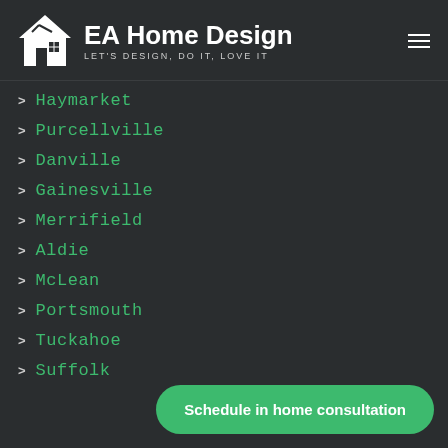[Figure (logo): EA Home Design logo with house icon and tagline LET'S DESIGN, DO IT, LOVE IT]
Haymarket
Purcellville
Danville
Gainesville
Merrifield
Aldie
McLean
Portsmouth
Tuckahoe
Suffolk
Schedule in home consultation